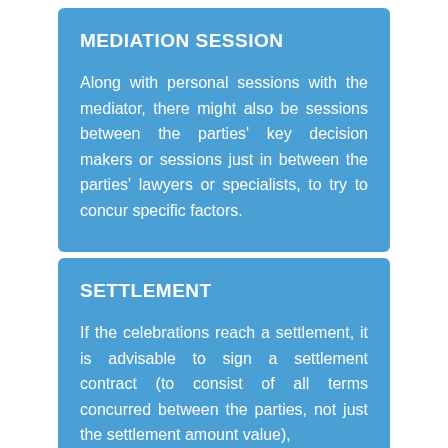MEDIATION SESSION
Along with personal sessions with the mediator, there might also be sessions between the parties' key decision makers or sessions just in between the parties' lawyers or specialists, to try to concur specific factors.
SETTLEMENT
If the celebrations reach a settlement, it is advisable to sign a settlement contract (to consist of all terms concurred between the parties, not just the settlement amount value),